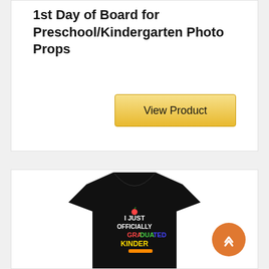1st Day of Board for Preschool/Kindergarten Photo Props
View Product
[Figure (photo): Black t-shirt with colorful text reading 'I JUST OFFICIALLY GRADUATED KINDER' with school-themed graphics]